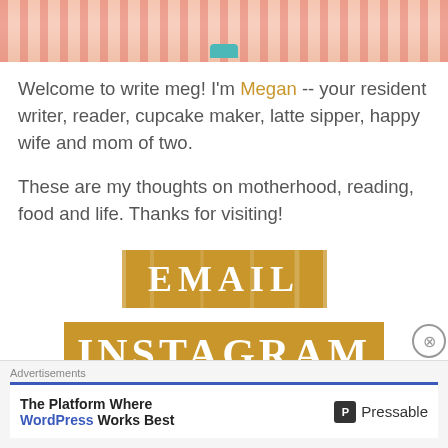[Figure (photo): Partial photo of a person wearing a red and white striped top with a teal accessory visible at the bottom]
Welcome to write meg! I'm Megan -- your resident writer, reader, cupcake maker, latte sipper, happy wife and mom of two.
These are my thoughts on motherhood, reading, food and life. Thanks for visiting!
[Figure (other): Golden/yellow button with white bold text reading EMAIL]
[Figure (other): Golden/yellow wide button with white bold text reading INSTAGRAM]
Advertisements
The Platform Where WordPress Works Best — Pressable advertisement